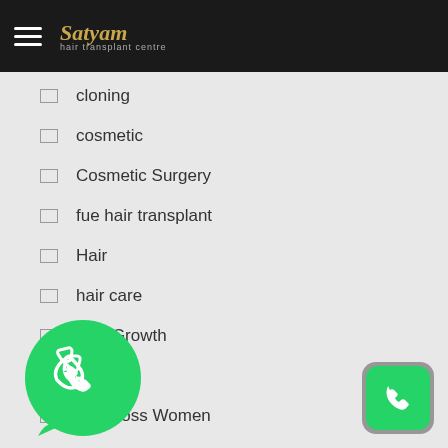Satyam Hair Transplant Centre
cloning
cosmetic
Cosmetic Surgery
fue hair transplant
Hair
hair care
Hair Growth
hair loss
Hair Loss Women
replacement
transplant